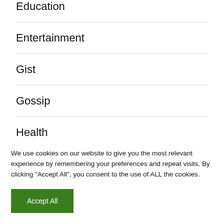Education
Entertainment
Gist
Gossip
Health
Music
We use cookies on our website to give you the most relevant experience by remembering your preferences and repeat visits. By clicking “Accept All”, you consent to the use of ALL the cookies.
Accept All